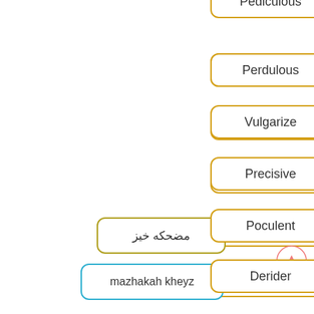[Figure (flowchart): A vertical list of English word boxes (orange borders) on the right side, and two word boxes on the left (olive and cyan borders) showing Arabic and romanized translations. A scroll-up button appears at the bottom right.]